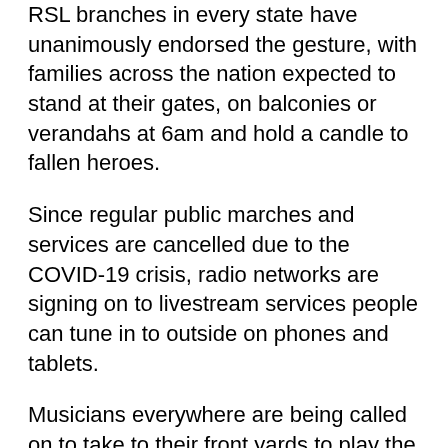RSL branches in every state have unanimously endorsed the gesture, with families across the nation expected to stand at their gates, on balconies or verandahs at 6am and hold a candle to fallen heroes.
Since regular public marches and services are cancelled due to the COVID-19 crisis, radio networks are signing on to livestream services people can tune in to outside on phones and tablets.
Musicians everywhere are being called on to take to their front yards to play the Last Post and Rouse or Reveille for neighbours. Residents are being urged to dress windows and mailboxes with poppies and kids to make bright red “wreaths” from painted egg cartons to hang on doors.
What began as a grassroots idea to mark Australia’s great day of remembrance has grown into a national campaign.